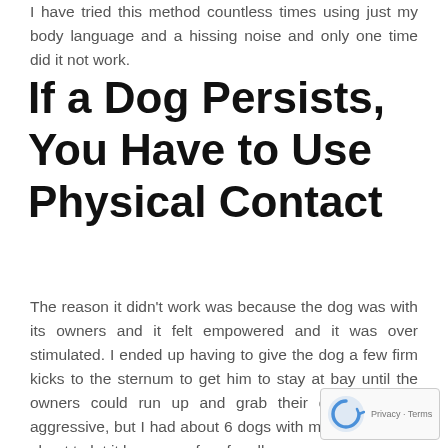I have tried this method countless times using just my body language and a hissing noise and only one time did it not work.
If a Dog Persists, You Have to Use Physical Contact
The reason it didn't work was because the dog was with its owners and it felt empowered and it was over stimulated. I ended up having to give the dog a few firm kicks to the sternum to get him to stay at bay until the owners could run up and grab their do… wasn't aggressive, but I had about 6 dogs with m… wasn't about to let it become a free for all.